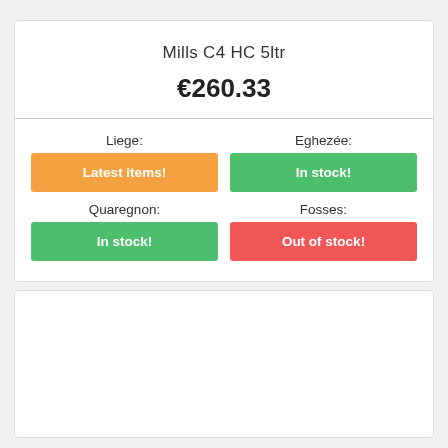Mills C4 HC 5ltr
€260.33
| Liege: | Eghezée: |
| --- | --- |
| Latest items! | In stock! |
| Quaregnon: | Fosses: |
| In stock! | Out of stock! |